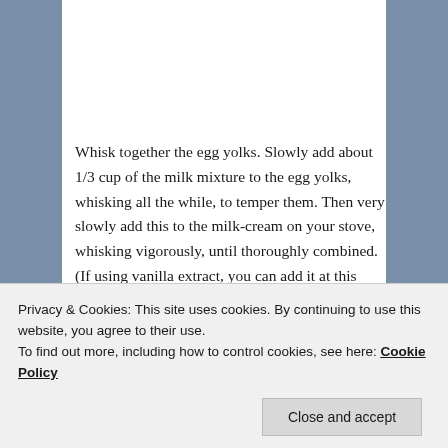Whisk together the egg yolks. Slowly add about 1/3 cup of the milk mixture to the egg yolks, whisking all the while, to temper them. Then very slowly add this to the milk-cream on your stove, whisking vigorously, until thoroughly combined. (If using vanilla extract, you can add it at this point.) Continue to cook over low heat, whisking, until your custard is thickened. The custard is thick enough when your whisk leaves faint marks on the surface, or when if you spoon some out it stays on the spoon without dribbling out like a liquid would. Remove from heat and give a few more swipes with the whisk for good measure.
Privacy & Cookies: This site uses cookies. By continuing to use this website, you agree to their use.
To find out more, including how to control cookies, see here: Cookie Policy